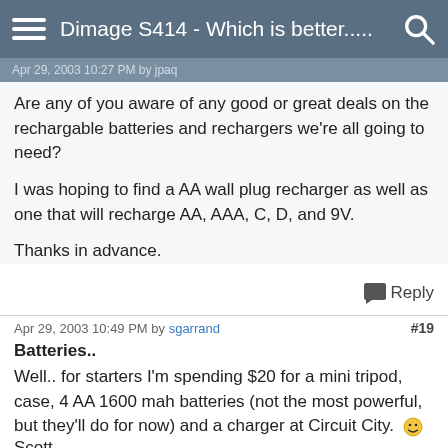Dimage S414 - Which is better.....
Apr 29, 2003 10:27 PM by jpaq
Are any of you aware of any good or great deals on the rechargable batteries and rechargers we're all going to need?

I was hoping to find a AA wall plug recharger as well as one that will recharge AA, AAA, C, D, and 9V.

Thanks in advance.
Reply
Apr 29, 2003 10:49 PM by sgarrand  #19
Batteries..
Well.. for starters I'm spending $20 for a mini tripod, case, 4 AA 1600 mah batteries (not the most powerful, but they'll do for now) and a charger at Circuit City. 🙂
Scott